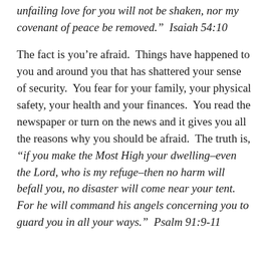unfailing love for you will not be shaken, nor my covenant of peace be removed."  Isaiah 54:10
The fact is you're afraid.  Things have happened to you and around you that has shattered your sense of security.  You fear for your family, your physical safety, your health and your finances.  You read the newspaper or turn on the news and it gives you all the reasons why you should be afraid.  The truth is, "if you make the Most High your dwelling-even the Lord, who is my refuge-then no harm will befall you, no disaster will come near your tent.  For he will command his angels concerning you to guard you in all your ways."  Psalm 91:9-11